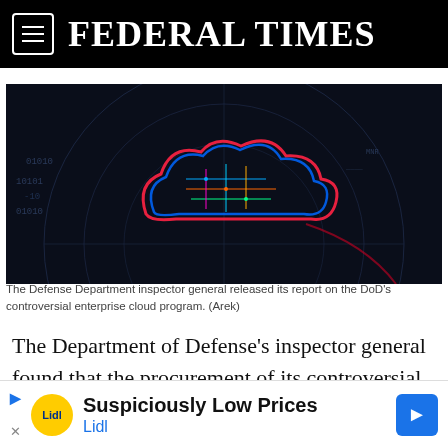FEDERAL TIMES
[Figure (photo): Dark digital background with a glowing cloud shape outlined in neon red, blue, orange colors, with circuit board patterns. Appears to be a stock image representing cloud computing technology.]
The Defense Department inspector general released its report on the DoD's controversial enterprise cloud program. (Arek)
The Department of Defense's inspector general found that the procurement of its controversial multi-billion dollar enterprise cloud contract was “consistent with applicable law and
[Figure (other): Advertisement banner: Suspiciously Low Prices - Lidl]